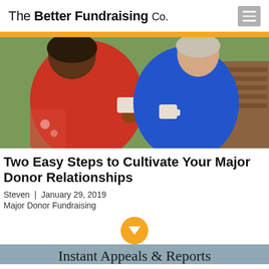The Better Fundraising Co.
[Figure (photo): Two women sitting outdoors on a bench, each holding a white mug, one wearing a red outfit and one wearing a blue outfit, with greenery in the background.]
Two Easy Steps to Cultivate Your Major Donor Relationships
Steven | January 29, 2019
Major Donor Fundraising
Instant Appeals & Reports